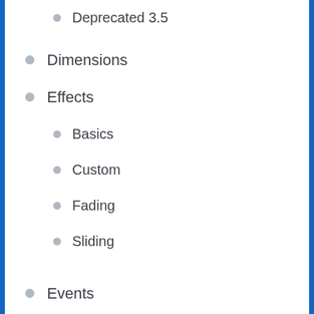Deprecated 3.5
Dimensions
Effects
Basics
Custom
Fading
Sliding
Events
Browser Events
Document Loading
Event Handler Attachment
Event Object
Form Events